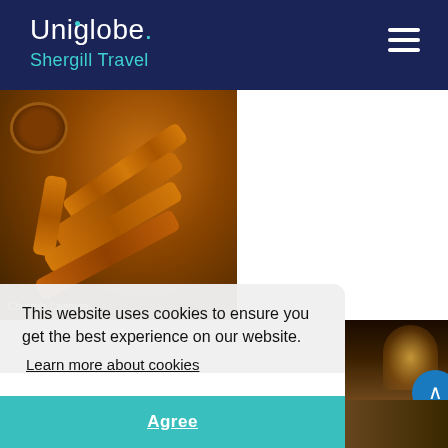Uniglobe. Shergill Travel
[Figure (photo): Photo of churros with chocolate dipping sauce on a dark background, labeled 'Churrería Laietana']
[Figure (photo): Small photo of a nighttime outdoor venue with warm arch lighting]
[Figure (photo): Bottom strip photo of a crowd at an outdoor evening event with string lights]
This website uses cookies to ensure you get the best experience on our website.
Learn more about cookies
Agree